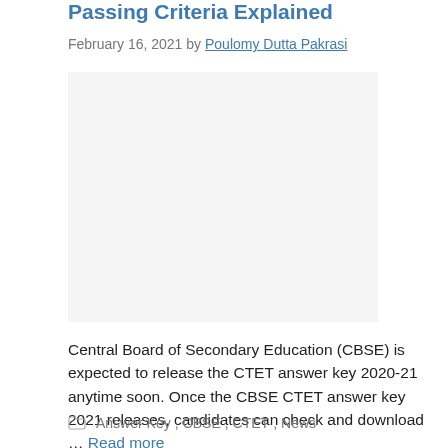Passing Criteria Explained
February 16, 2021 by Poulomy Dutta Pakrasi
[Figure (other): Advertisement or placeholder image area]
Central Board of Secondary Education (CBSE) is expected to release the CTET answer key 2020-21 anytime soon. Once the CBSE CTET answer key 2021 releases, candidates can check and download … Read more
Answer Key, CBSE, CTET, News